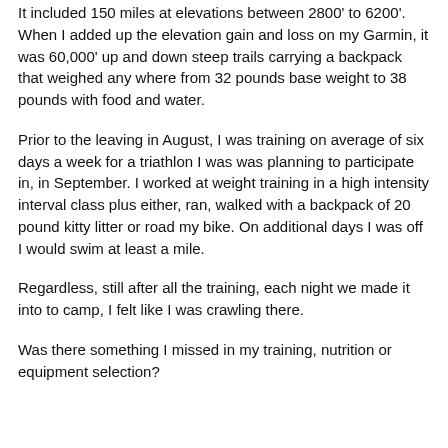It included 150 miles at elevations between 2800' to 6200'. When I added up the elevation gain and loss on my Garmin, it was 60,000' up and down steep trails carrying a backpack that weighed any where from 32 pounds base weight to 38 pounds with food and water.
Prior to the leaving in August, I was training on average of six days a week for a triathlon I was was planning to participate in, in September. I worked at weight training in a high intensity interval class plus either, ran, walked with a backpack of 20 pound kitty litter or road my bike. On additional days I was off I would swim at least a mile.
Regardless, still after all the training, each night we made it into to camp, I felt like I was crawling there.
Was there something I missed in my training, nutrition or equipment selection?